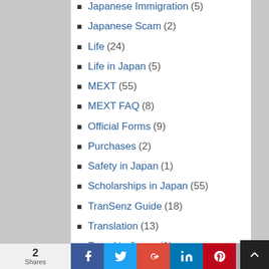Japanese Immigration (5)
Japanese Scam (2)
Life (24)
Life in Japan (5)
MEXT (55)
MEXT FAQ (8)
Official Forms (9)
Purchases (2)
Safety in Japan (1)
Scholarships in Japan (55)
TranSenz Guide (18)
Translation (13)
Travel in Japan (1)
Videos (1)
2 Shares | Social sharing bar: Facebook, Twitter, Google+, LinkedIn, Pinterest, Email